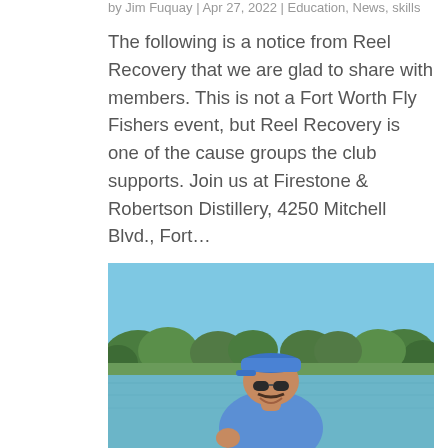by Jim Fuquay | Apr 27, 2022 | Education, News, skills
The following is a notice from Reel Recovery that we are glad to share with members. This is not a Fort Worth Fly Fishers event, but Reel Recovery is one of the cause groups the club supports. Join us at Firestone & Robertson Distillery, 4250 Mitchell Blvd., Fort…
[Figure (photo): Outdoor photo of a man wearing a blue cap and sunglasses, smiling on a boat on a river or lake, with green trees visible in the background under a clear blue sky.]